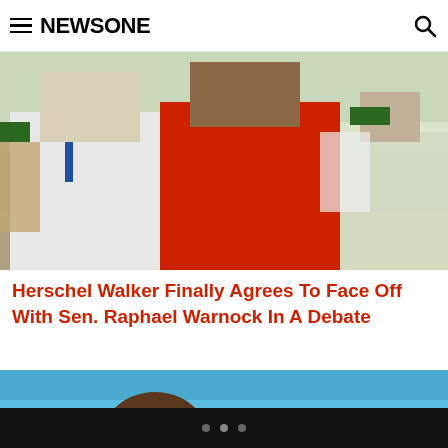NEWSONE
[Figure (photo): Photo of Herschel Walker in a red polo shirt shaking hands or interacting with a person in white clothing at an outdoor event with a crowd in the background]
Herschel Walker Finally Agrees To Face Off With Sen. Raphael Warnock In A Debate
[Figure (photo): Partial photo of a man against a blue sky background, showing the upper portion of his head and face]
• • •